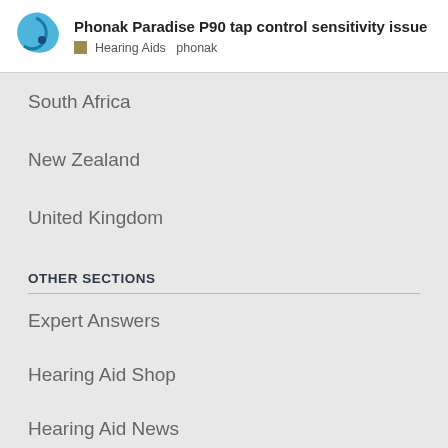Phonak Paradise P90 tap control sensitivity issue | Hearing Aids phonak
South Africa
New Zealand
United Kingdom
OTHER SECTIONS
Expert Answers
Hearing Aid Shop
Hearing Aid News
Hearing Aid Forum